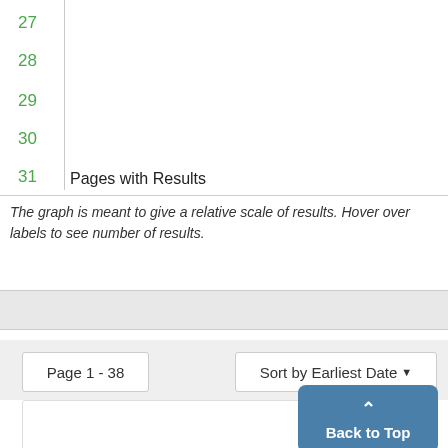[Figure (other): Partial chart showing y-axis labels 27-31 with a vertical gray line, and x-axis label 'Pages with Results'. The chart is cropped at the top.]
The graph is meant to give a relative scale of results. Hover over labels to see number of results.
Page 1 - 38
Sort by Earliest Date ▾
January
Back to Top